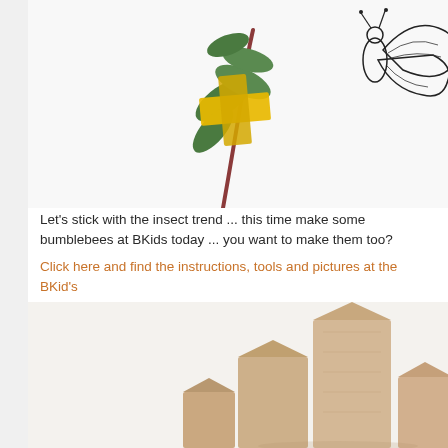[Figure (photo): Photo of a plant stem with green leaves and a yellow rectangular sticker/tape crossing it, on white background. Partially visible insect line drawing in upper right corner.]
Let's stick with the insect trend ... this time make some bumblebees at BKids today ... you want to make them too?
Click here and find the instructions, tools and pictures at the BKid's
[Figure (photo): Photo of natural light wooden house-shaped decorative blocks arranged together on a white background.]